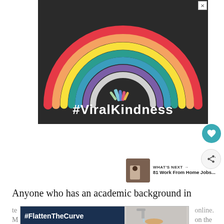[Figure (photo): Chalk-drawn rainbow on dark asphalt pavement with chalk sticks placed in the center. White bold text overlaid at the bottom reads '#ViralKindness'. An X close button is visible in the top-right corner of the image.]
Anyone who has an academic background in
[Figure (photo): Partial advertisement banner with '#FlattenTheCurve' text on the left and a photo of someone washing hands on the right, with an X close button.]
te online. M on the